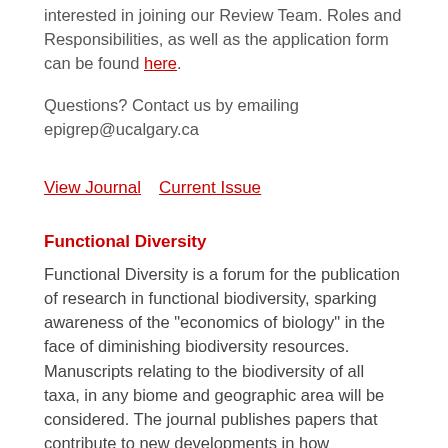interested in joining our Review Team. Roles and Responsibilities, as well as the application form can be found here.
Questions? Contact us by emailing epigrep@ucalgary.ca
View Journal   Current Issue
Functional Diversity
Functional Diversity is a forum for the publication of research in functional biodiversity, sparking awareness of the "economics of biology" in the face of diminishing biodiversity resources. Manuscripts relating to the biodiversity of all taxa, in any biome and geographic area will be considered. The journal publishes papers that contribute to new developments in how biodiversity relates to ecosystem function and ecosystem services in terms of food security, human health, and ecosystem